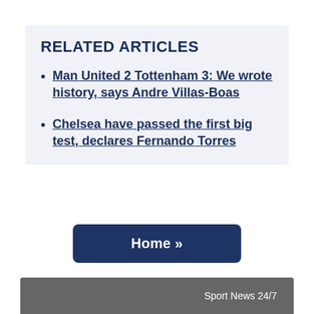RELATED ARTICLES
Man United 2 Tottenham 3: We wrote history, says Andre Villas-Boas
Chelsea have passed the first big test, declares Fernando Torres
Home »
Sport News 24/7